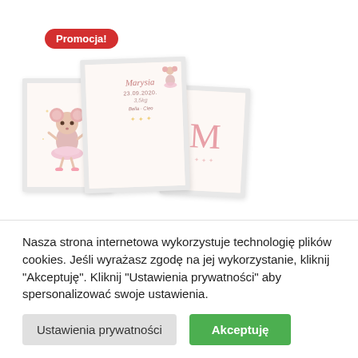Promocja!
[Figure (photo): Three white-framed posters: left shows a ballerina mouse illustration, center shows a birth metric/certificate with name and date, right shows a large pink letter M on cream background]
Zestaw plakatów z metrvczka – tancerka
Nasza strona internetowa wykorzystuje technologię plików cookies. Jeśli wyrażasz zgodę na jej wykorzystanie, kliknij "Akceptuję". Kliknij "Ustawienia prywatności" aby spersonalizować swoje ustawienia.
Ustawienia prywatności
Akceptuję